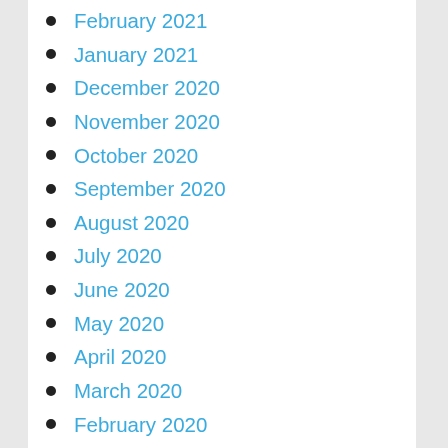February 2021
January 2021
December 2020
November 2020
October 2020
September 2020
August 2020
July 2020
June 2020
May 2020
April 2020
March 2020
February 2020
January 2020
December 2019
November 2019
October 2019
September 2019